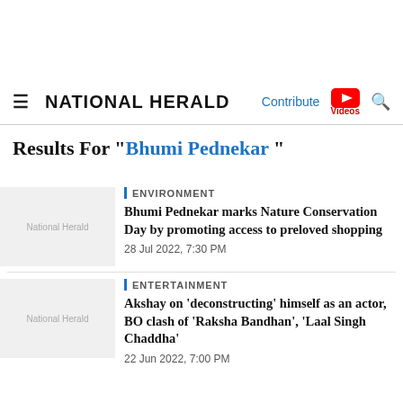NATIONAL HERALD
Results For "Bhumi Pednekar "
ENVIRONMENT
Bhumi Pednekar marks Nature Conservation Day by promoting access to preloved shopping
28 Jul 2022, 7:30 PM
ENTERTAINMENT
Akshay on 'deconstructing' himself as an actor, BO clash of 'Raksha Bandhan', 'Laal Singh Chaddha'
22 Jun 2022, 7:00 PM